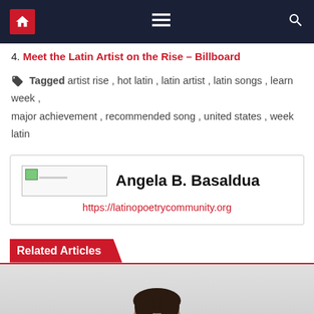Navigation bar with home, menu, and search icons
4. Meet the Latin Artist on the Rise – Billboard
Tagged artist rise, hot latin, latin artist, latin songs, learn week, major achievement, recommended song, united states, week latin
Angela B. Basaldua
https://latinopoetrycommunity.org
Related Articles
[Figure (photo): Photo of a young man with dark hair and beard, wearing a black turtleneck, against a light gray background]